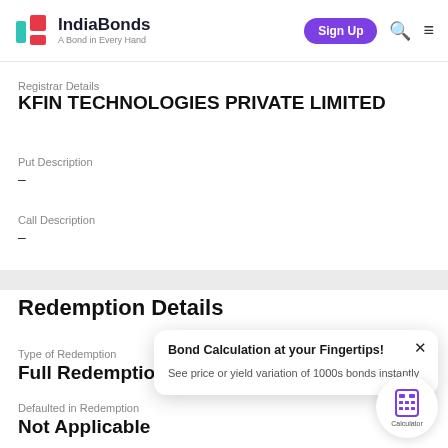IndiaBonds – A Bond in Every Hand | Sign Up
Registrar Details
KFIN TECHNOLOGIES PRIVATE LIMITED
Put Description
–
Call Description
–
Redemption Details
Type of Redemption
Full Redemption
Bond Calculation at your Fingertips!
See price or yield variation of 1000s bonds instantly
Defaulted in Redemption
Not Applicable